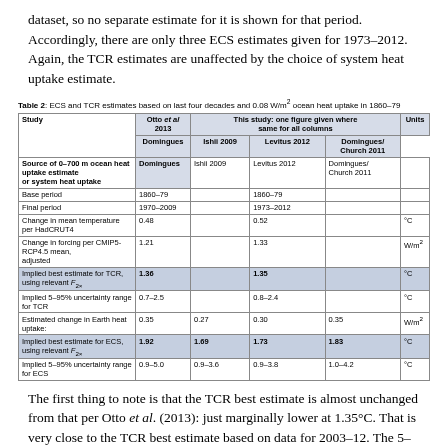dataset, so no separate estimate for it is shown for that period. Accordingly, there are only three ECS estimates given for 1973–2012. Again, the TCR estimates are unaffected by the choice of system heat uptake estimate.
Table 2: ECS and TCR estimates based on last four decades and 0.08 W/m² ocean heat uptake in 1860–79
| Study | Otto et al 2013 | This study: one figure given where same for all columns [Ishii 2009] | Levitus 2012 | Domingues/Church 2011 | Units |
| --- | --- | --- | --- | --- | --- |
| Source of 0–700 m ocean heat uptake estimate or system heat uptake | Domingues | Ishii 2009 | Levitus 2012 | Domingues/Church 2011 |  |
| Base period | 1860–79 |  | 1860–79 |  |  |
| Final period | 1970–2009 |  | 1973–2012 |  |  |
| Change in mean temperature per HadCRUT4 | 0.48 |  | 0.52 |  | °C |
| Change in forcing per CMIP5-RCP4.5 mean, adjusted | 1.21 |  | 1.33 |  | W/m² |
| Implied best estimate for TCR, using relevant F2× | 1.36 |  | 1.35 |  | °C |
| Implied 5–95% uncertainty range for TCR | 0.7–2.5 |  | 0.8–2.4 |  | °C |
| Estimated change in Earth heat uptake: | 0.35 | 0.27 | 0.30 | 0.35 | W/m² |
| Implied best estimate for ECS, using relevant F2× | 1.92 | 1.69 | 1.73 | 1.83 | °C |
| Implied 5–95% uncertainty range for ECS | 0.9–5.0 | 0.9–3.6 | 0.9–3.8 | 1.0–4.2 | °C |
The first thing to note is that the TCR best estimate is almost unchanged from that per Otto et al. (2013): just marginally lower at 1.35°C. That is very close to the TCR best estimate based on data for 2003–12. The 5–95%